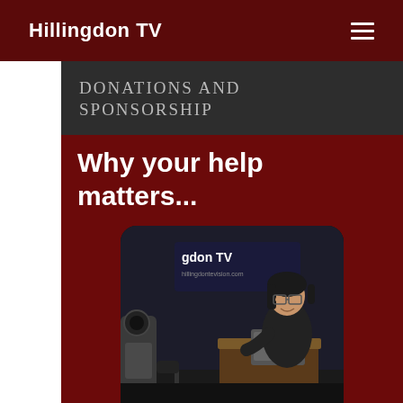Hillingdon TV
DONATIONS AND SPONSORSHIP
Why your help matters...
[Figure (photo): A person with dark hair and glasses sitting at a desk with a laptop, in front of a Hillingdon TV branded backdrop, with camera equipment visible in the foreground.]